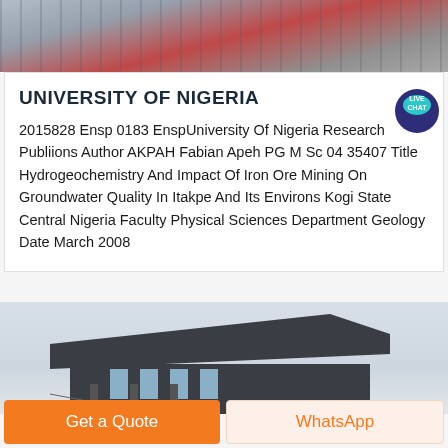[Figure (photo): Top photograph showing industrial or construction equipment with red and grey elements]
UNIVERSITY OF NIGERIA
2015828 Ensp 0183 EnspUniversity Of Nigeria Research Publiions Author AKPAH Fabian Apeh PG M Sc 04 35407 Title Hydrogeochemistry And Impact Of Iron Ore Mining On Groundwater Quality In Itakpe And Its Environs Kogi State Central Nigeria Faculty Physical Sciences Department Geology Date March 2008
[Figure (photo): Bottom photograph showing a building with dark cladding and columns against a light sky]
Get a Quote
WhatsApp